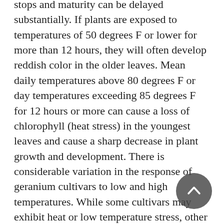stops and maturity can be delayed substantially. If plants are exposed to temperatures of 50 degrees F or lower for more than 12 hours, they will often develop reddish color in the older leaves. Mean daily temperatures above 80 degrees F or day temperatures exceeding 85 degrees F for 12 hours or more can cause a loss of chlorophyll (heat stress) in the youngest leaves and cause a sharp decrease in plant growth and development. There is considerable variation in the response of geranium cultivars to low and high temperatures. While some cultivars may exhibit heat or low temperature stress, other cultivars grown under the same conditions in the same greenhouse may show no signs of stress.
Irrigation
Watering greenhouse floriculture crops remains the most difficult task to perfect. Many factors such as type of crop, pot size, temperature, soil mix, bench design, and type of heat can effect watering practices.